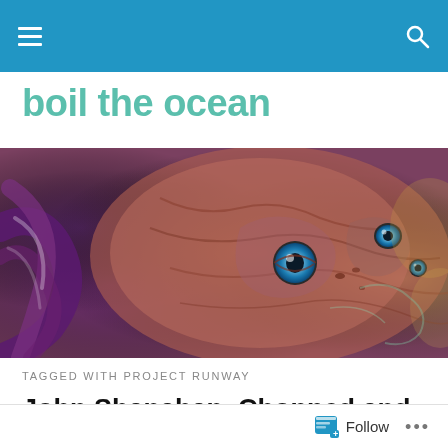boil the ocean — navigation bar with hamburger menu and search icon
boil the ocean
[Figure (illustration): Close-up fantasy/sci-fi creature with multiple blue eyes, wrinkled purple and reddish-brown skin, tentacles visible on the left, swirling organic textures in purples, pinks, and golds.]
TAGGED WITH PROJECT RUNWAY
John Shanahan, Chopped and Sewed on the Final Frontier
Follow ...